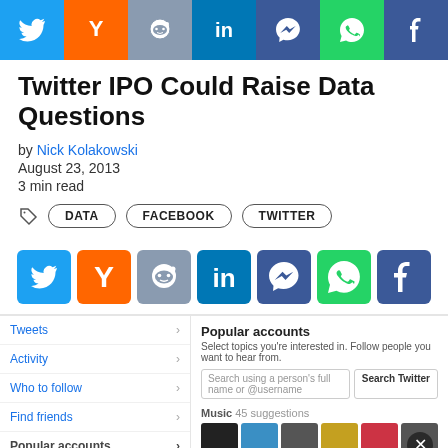[Figure (infographic): Top social media sharing icon bar: Twitter (blue), Y Combinator (orange), Reddit (gray-blue), LinkedIn (blue), Messenger (dark blue), WhatsApp (green), Facebook (dark blue)]
Twitter IPO Could Raise Data Questions
by Nick Kolakowski
August 23, 2013
3 min read
Tags: DATA   FACEBOOK   TWITTER
[Figure (infographic): Middle social media share buttons row: Twitter, Y Combinator, Reddit, LinkedIn, Messenger, WhatsApp, Facebook]
[Figure (screenshot): Twitter interface screenshot showing navigation panel (Tweets, Activity, Who to follow, Find friends, Popular accounts) on left and Popular accounts panel with search on right, with music suggestions thumbnails at bottom]